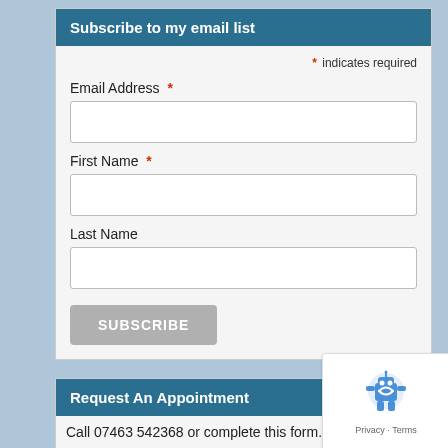Subscribe to my email list
* indicates required
Email Address *
First Name *
Last Name
SUBSCRIBE
Request An Appointment
Call 07463 542368 or complete this form.
Your Name (required)
[Figure (logo): reCAPTCHA badge with robot icon and Privacy - Terms text]